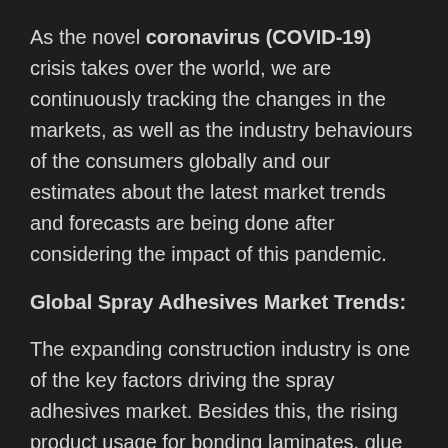As the novel coronavirus (COVID-19) crisis takes over the world, we are continuously tracking the changes in the markets, as well as the industry behaviours of the consumers globally and our estimates about the latest market trends and forecasts are being done after considering the impact of this pandemic.
Global Spray Adhesives Market Trends:
The expanding construction industry is one of the key factors driving the spray adhesives market. Besides this, the rising product usage for bonding laminates, glue drywalls, ceilings, plasters, fiberglass, foams, roofing membranes, carpet tiles,